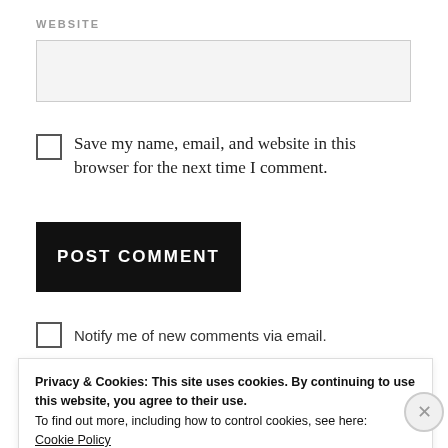WEBSITE
[Figure (other): Empty text input field for website URL]
Save my name, email, and website in this browser for the next time I comment.
[Figure (other): POST COMMENT button, black background with white uppercase text]
Notify me of new comments via email.
Privacy & Cookies: This site uses cookies. By continuing to use this website, you agree to their use.
To find out more, including how to control cookies, see here:
Cookie Policy
Close and accept